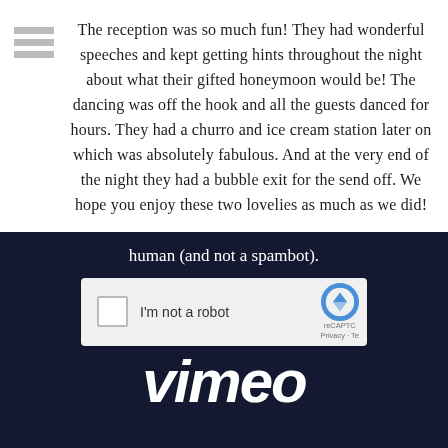The reception was so much fun! They had wonderful speeches and kept getting hints throughout the night about what their gifted honeymoon would be! The dancing was off the hook and all the guests danced for hours. They had a churro and ice cream station later on which was absolutely fabulous. And at the very end of the night they had a bubble exit for the send off. We hope you enjoy these two lovelies as much as we did!
[Figure (screenshot): Dark navy background section showing a reCAPTCHA widget with 'I'm not a robot' checkbox, reCAPTCHA logo, and partial Vimeo logo text at the bottom. Top text reads 'human (and not a spambot).'.]